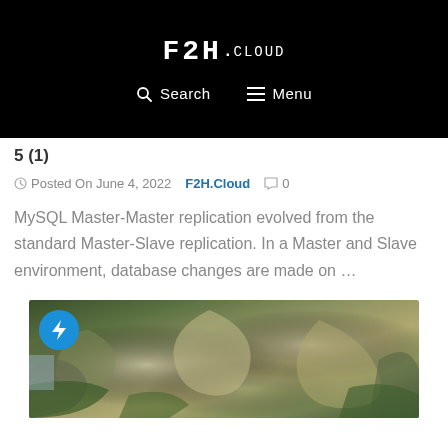F2H.cloud — Search | Menu
5 (1)
Posted On June 4, 2022   F2H.Cloud   0
MySQL Master-Master replication evolved from the standard Master-Slave replication. In a Master and Slave environment, database changes are made on …
[Figure (photo): Mossy rocks in a natural outdoor setting with water, nature landscape photograph. Blue lightning bolt badge in the upper left corner.]